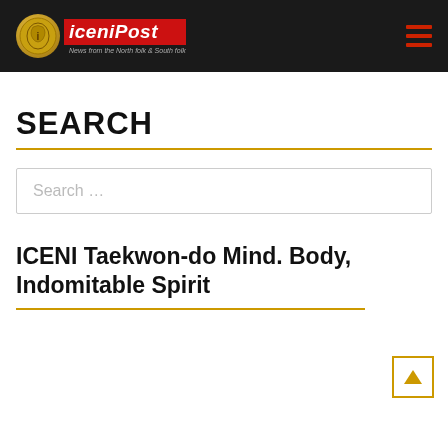iceniPost — News from the North folk & South folk
SEARCH
Search …
ICENI Taekwon-do Mind. Body, Indomitable Spirit